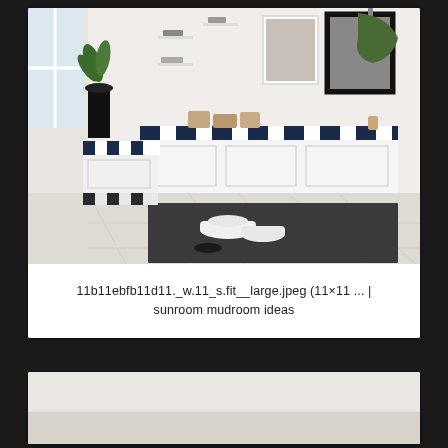[Figure (photo): Interior mudroom/sunroom photo showing an L-shaped bench with black and white striped cushions, white storage cabinets below, wall shelves with small items, framed art and mirror on wall, coat hooks with green jacket, dark area rug on tile floor, white sneakers on floor, plant in black vase.]
11b11ebfb11d11._w.11_s.fit__large.jpeg (11×11 ... | sunroom mudroom ideas
[Figure (photo): Partial view of another mudroom/entryway photo, light tones visible at bottom of page.]